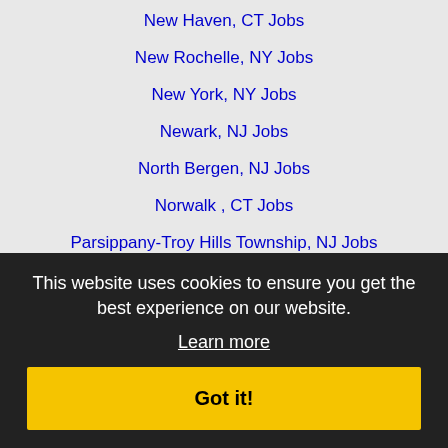New Haven, CT Jobs
New Rochelle, NY Jobs
New York, NY Jobs
Newark, NJ Jobs
North Bergen, NJ Jobs
Norwalk , CT Jobs
Parsippany-Troy Hills Township, NJ Jobs
Passaic, NJ Jobs
Paterson, NJ Jobs
Perth Amboy, NJ Jobs
Pittsfield, MA Jobs
Plainfield, NJ Jobs
Sayreville, NJ Jobs
Springfield, MA Jobs
Stamford, CT Jobs
Stratford, CT Jobs
Troy, NY Jobs
Union, NJ Jobs
This website uses cookies to ensure you get the best experience on our website.
Learn more
Got it!